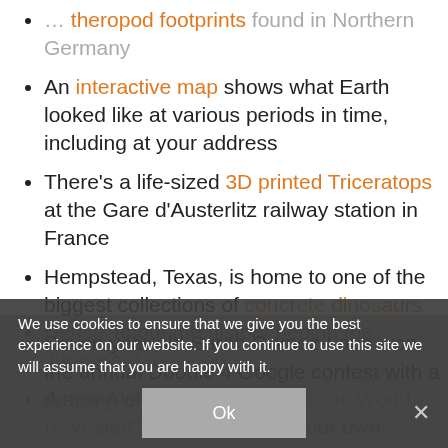... theropod footprints found in Northern Germany
An interactive map shows what Earth looked like at various periods in time, including at your address
There's a life-sized 3D printed Triceratops at the Gare d'Austerlitz railway station in France
Hempstead, Texas, is home to one of the biggest collections of concrete dinosaurs
Seven year old Sarah Gomez-Lane won the annual Doodle 4 Google contest with a drawing of dinosaurs
Details about the history behind the Jurassic Park video
A new Alexa skill called "Jurassic World Revealed" is like a choose your own adventure
We use cookies to ensure that we give you the best experience on our website. If you continue to use this site we will assume that you are happy with it.